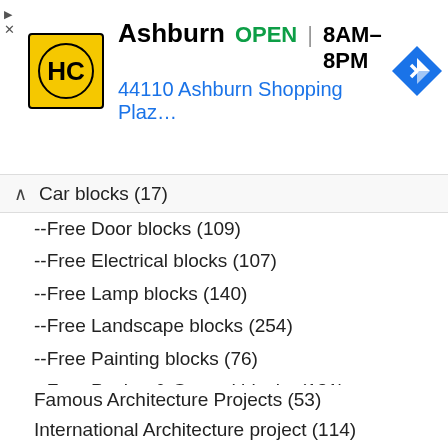[Figure (logo): HC Hardware store advertisement banner showing HC logo, Ashburn location, OPEN status, hours 8AM-8PM, and address 44110 Ashburn Shopping Plaz...]
Car blocks (17)
--Free Door blocks (109)
--Free Electrical blocks (107)
--Free Lamp blocks (140)
--Free Landscape blocks (254)
--Free Painting blocks (76)
--Free Paving & Ground blocks (131)
--Free People blocks (79)
--Free Stair blocks (97)
--Free Symbol blocks (120)
--Free Toilet Blocks (34)
--Free Tree Blocks (68)
--Free Window Blocks (142)
Famous Architecture Projects (53)
International Architecture project (114)